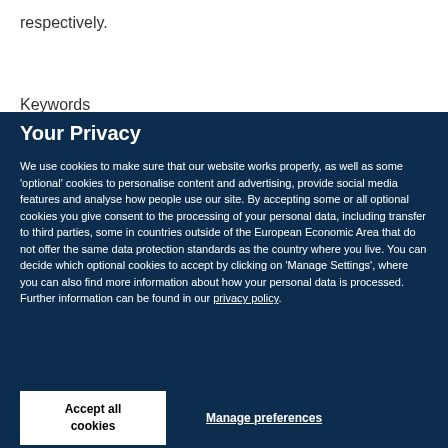respectively.
Keywords
Your Privacy
We use cookies to make sure that our website works properly, as well as some 'optional' cookies to personalise content and advertising, provide social media features and analyse how people use our site. By accepting some or all optional cookies you give consent to the processing of your personal data, including transfer to third parties, some in countries outside of the European Economic Area that do not offer the same data protection standards as the country where you live. You can decide which optional cookies to accept by clicking on 'Manage Settings', where you can also find more information about how your personal data is processed. Further information can be found in our privacy policy.
Accept all cookies
Manage preferences